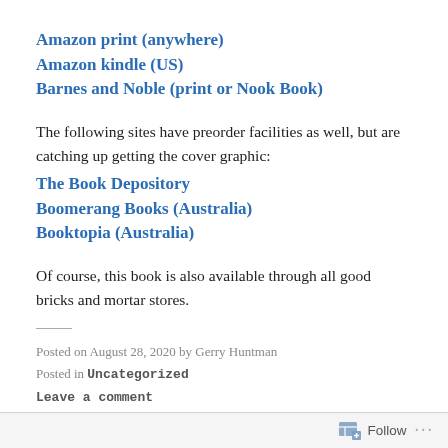Amazon print (anywhere)
Amazon kindle (US)
Barnes and Noble (print or Nook Book)
The following sites have preorder facilities as well, but are catching up getting the cover graphic:
The Book Depository
Boomerang Books (Australia)
Booktopia (Australia)
Of course, this book is also available through all good bricks and mortar stores.
Posted on August 28, 2020 by Gerry Huntman
Posted in Uncategorized
Leave a comment